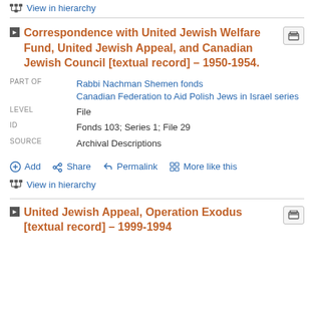View in hierarchy
Correspondence with United Jewish Welfare Fund, United Jewish Appeal, and Canadian Jewish Council [textual record] – 1950-1954.
PART OF: Rabbi Nachman Shemen fonds Canadian Federation to Aid Polish Jews in Israel series
LEVEL: File
ID: Fonds 103; Series 1; File 29
SOURCE: Archival Descriptions
Add  Share  Permalink  More like this
View in hierarchy
United Jewish Appeal, Operation Exodus [textual record] – 1999-1994